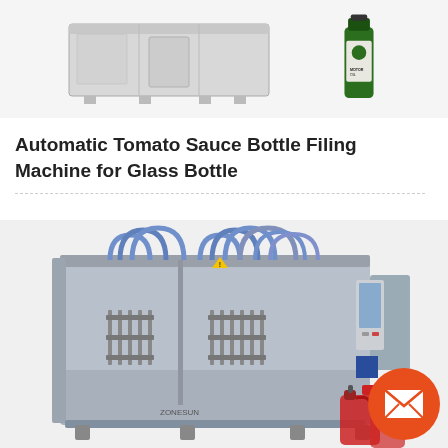[Figure (photo): Top portion of a bottle filling machine (gray industrial machine) on the left, and a green motor oil bottle on the right, against a light gray background.]
Automatic Tomato Sauce Bottle Filing Machine for Glass Bottle
[Figure (photo): Large industrial automatic bottle filling machine with multiple filling nozzles connected by blue hoses, control panel on right side, positioned on a production floor. Red sauce gallon jugs visible at bottom right. An orange circular email contact button overlays the bottom right corner.]